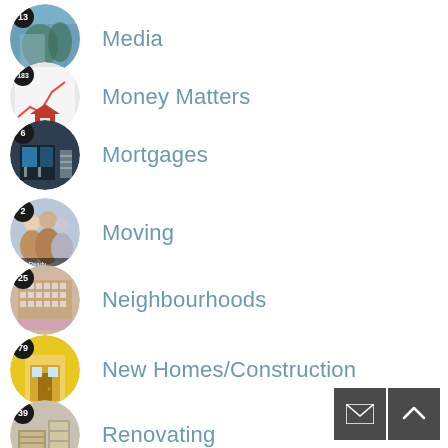13 Media
183 Money Matters
6 Mortgages
2 Moving
25 Neighbourhoods
79 New Homes/Construction
39 Renovating